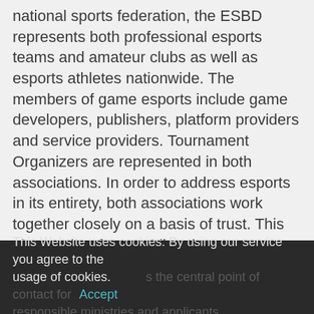national sports federation, the ESBD represents both professional esports teams and amateur clubs as well as esports athletes nationwide. The members of game esports include game developers, publishers, platform providers and service providers. Tournament Organizers are represented in both associations. In order to address esports in its entirety, both associations work together closely on a basis of trust. This also applies for providing the requirements in esports set by the German Employment Regulations. Both associations did form a joint working group in order to jointly determine the procedure for confirming “professional practice” and to define the “considerable national and international significance” of competitions. The joint working group entrusts the implementation by the ESBD, which is the central point of contact for the responsible ministries and applicants.
This Website uses cookies. By using our service you agree to the usage of cookies. Accept